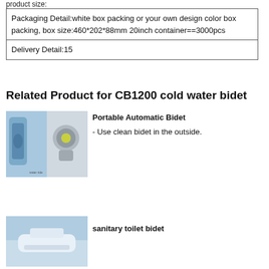product size:
| Packaging Detail:white box packing or your own design color box packing, box size:460*202*88mm 20inch container==3000pcs |
| Delivery Detail:15 |
Related Product for CB1200 cold water bidet
[Figure (photo): Portable automatic bidet product photos showing bidet device and nozzle components]
Portable Automatic Bidet
- Use clean bidet in the outside.
[Figure (photo): Sanitary toilet bidet product image]
sanitary toilet bidet